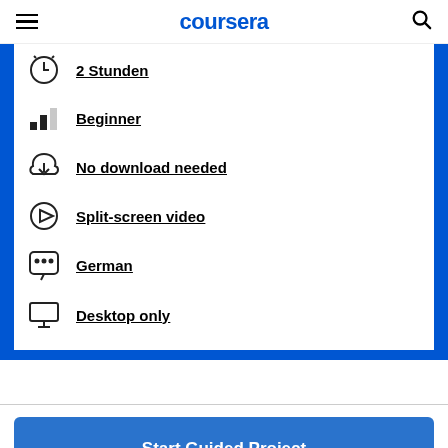coursera
2 Stunden
Beginner
No download needed
Split-screen video
German
Desktop only
Start Guided Project